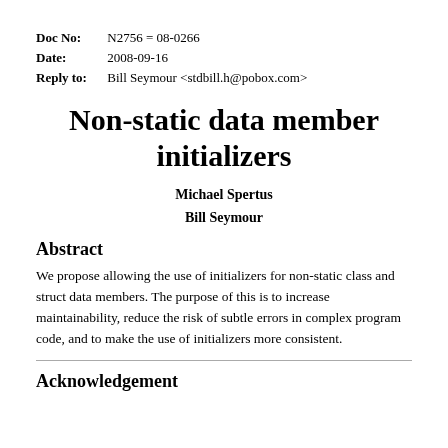Doc No: N2756 = 08-0266
Date: 2008-09-16
Reply to: Bill Seymour <stdbill.h@pobox.com>
Non-static data member initializers
Michael Spertus
Bill Seymour
Abstract
We propose allowing the use of initializers for non-static class and struct data members. The purpose of this is to increase maintainability, reduce the risk of subtle errors in complex program code, and to make the use of initializers more consistent.
Acknowledgement